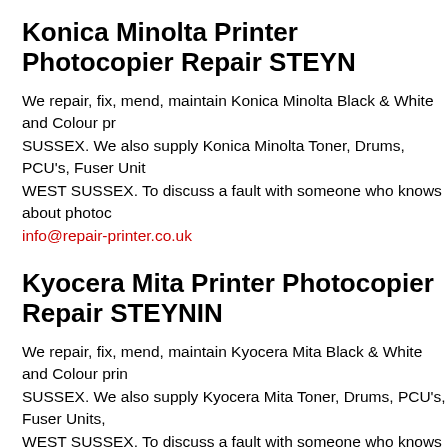Konica Minolta Printer Photocopier Repair STEYN...
We repair, fix, mend, maintain Konica Minolta Black & White and Colour pr... SUSSEX. We also supply Konica Minolta Toner, Drums, PCU's, Fuser Unit... WEST SUSSEX. To discuss a fault with someone who knows about photoc... info@repair-printer.co.uk
Kyocera Mita Printer Photocopier Repair STEYNIN...
We repair, fix, mend, maintain Kyocera Mita Black & White and Colour prin... SUSSEX. We also supply Kyocera Mita Toner, Drums, PCU's, Fuser Units,... WEST SUSSEX. To discuss a fault with someone who knows about photoc... info@repair-printer.co.uk
OKI Printer Photocopier Repair STEYNING, WEST...
We repair, fix, mend, maintain OKI Black & White and Colour printer photoc... also supply OKI Toner, Drums, PCU's, Fuser Units, Paper Feed Tyres and... discuss a fault with someone who knows about photocopiers, copiers call